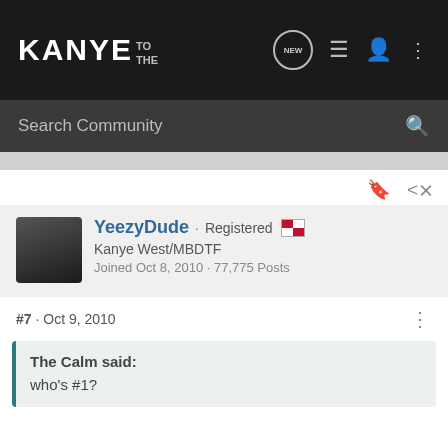KANYE TO THE
Search Community
YeezyDude · Registered
Kanye West/MBDTF
Joined Oct 8, 2010 · 77,775 Posts
#7 · Oct 9, 2010
The Calm said:
who's #1?